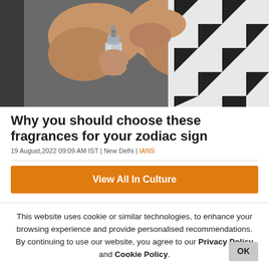[Figure (photo): Close-up photo of hands holding and spraying a glass perfume bottle. Person wearing a black and white geometric patterned shirt.]
Why you should choose these fragrances for your zodiac sign
19 August,2022 09:09 AM IST | New Delhi | IANS
View All In Culture
This website uses cookie or similar technologies, to enhance your browsing experience and provide personalised recommendations. By continuing to use our website, you agree to our Privacy Policy and Cookie Policy.